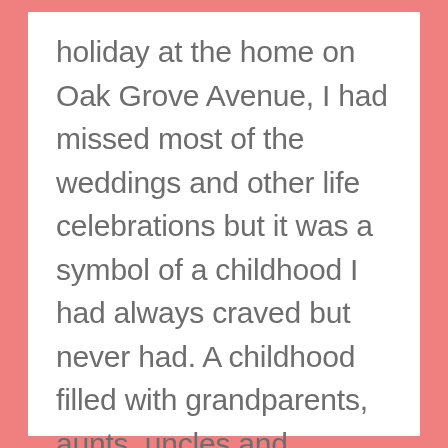holiday at the home on Oak Grove Avenue, I had missed most of the weddings and other life celebrations but it was a symbol of a childhood I had always craved but never had. A childhood filled with grandparents, aunts, uncles and cousins around the corner, and a home filled with holiday celebrations and security. I